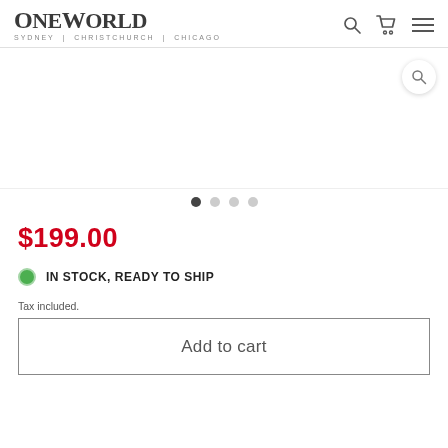OneWorld SYDNEY | CHRISTCHURCH | CHICAGO
[Figure (screenshot): Product image area with zoom/search button, mostly white/blank image area]
• • • • (carousel dots, first dot active)
$199.00
IN STOCK, READY TO SHIP
Tax included.
Add to cart